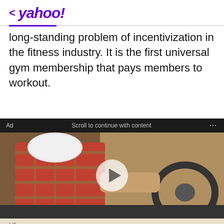< yahoo!
long-standing problem of incentivization in the fitness industry. It is the first universal gym membership that pays members to workout.
[Figure (screenshot): Ad banner with video player showing person in red plaid shirt and face mask driving a car. Video has a play button overlay. Banner shows 'Ad', 'Scroll to continue with content', and '...' controls.]
Uber
Ganancias Garantizadas
Ganancias garantizadas en tu ciudad cuando